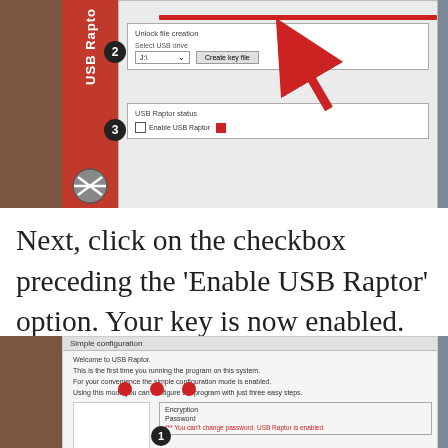[Figure (screenshot): Screenshot of USB Raptor application showing step 2 (Unlock file creation with Select USB drive dropdown and Create key file button) and step 3 (USB Raptor status with Enable USB Raptor checkbox and red status square). A red arrow points to the Create key file button.]
Next, click on the checkbox preceding the 'Enable USB Raptor' option. Your key is now enabled. However, to enable USB Raptor automatically at every startup. Go to the next step.
[Figure (screenshot): Screenshot of USB Raptor Simple configuration dialog showing Welcome to USB Raptor message, simple configuration mode notice, and Encryption/Password section with warning '*** You can't change password. USB Raptor is enabled.' Step 1 circle visible at bottom.]